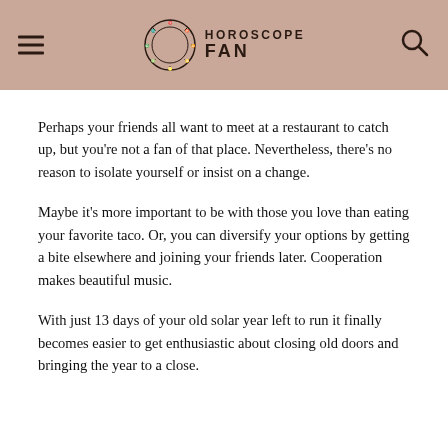HOROSCOPE FAN
Perhaps your friends all want to meet at a restaurant to catch up, but you're not a fan of that place. Nevertheless, there's no reason to isolate yourself or insist on a change.
Maybe it's more important to be with those you love than eating your favorite taco. Or, you can diversify your options by getting a bite elsewhere and joining your friends later. Cooperation makes beautiful music.
With just 13 days of your old solar year left to run it finally becomes easier to get enthusiastic about closing old doors and bringing the year to a close.